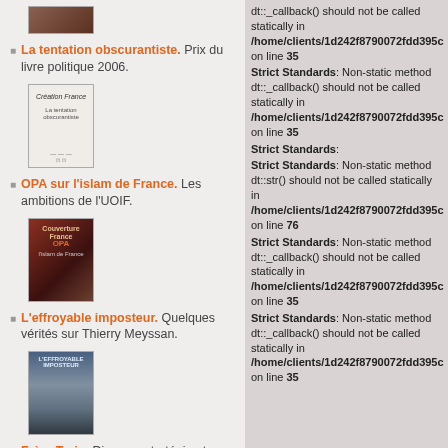La tentation obscurantiste. Prix du livre politique 2006.
[Figure (photo): Book cover for La tentation obscurantiste]
OPA sur l'islam de France. Les ambitions de l'UOIF.
[Figure (photo): Book cover for OPA sur l'islam de France]
L'effroyable imposteur. Quelques vérités sur Thierry Meyssan.
[Figure (photo): Book cover for L'effroyable imposteur]
Frère Tariq. Discours stratégie et méthode de Tariq Ramadan.
Strict Standards: Non-static method dt::_callback() should not be called statically in /home/clients/1d242f8790072fdd395c on line 35 Strict Standards: Non-static method dt::_callback() should not be called statically in /home/clients/1d242f8790072fdd395c on line 35 Strict Standards: Non-static method dt::str() should not be called statically in /home/clients/1d242f8790072fdd395c on line 76 Strict Standards: Non-static method dt::_callback() should not be called statically in /home/clients/1d242f8790072fdd395c on line 35 Strict Standards: Non-static method dt::_callback() should not be called statically in /home/clients/1d242f8790072fdd395c on line 35